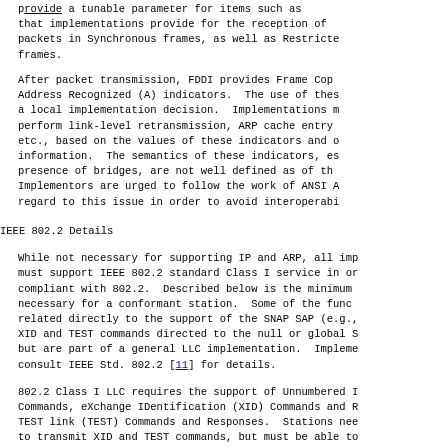provides a tunable parameter for future use. It is recommended that implementations provide for the reception of MAC frames and packets in Synchronous frames, as well as Restricted Asynchronous frames.
After packet transmission, FDDI provides Frame Copied (C) and Address Recognized (A) indicators. The use of these indicators is a local implementation decision. Implementations may use them to perform link-level retransmission, ARP cache entry verification, etc., based on the values of these indicators and other information. The semantics of these indicators, especially in the presence of bridges, are not well defined as of this writing. Implementors are urged to follow the work of ANSI ASC X3T9.5 with regard to this issue in order to avoid interoperability problems.
IEEE 802.2 Details
While not necessary for supporting IP and ARP, all implementations must support IEEE 802.2 standard Class I service in order to be compliant with 802.2. Described below is the minimum functionality necessary for a conformant station. Some of the functions are related directly to the support of the SNAP SAP (e.g., responding to XID and TEST commands directed to the null or global SAP addresses) but are part of a general LLC implementation. Implementors should consult IEEE Std. 802.2 [11] for details.
802.2 Class I LLC requires the support of Unnumbered Information (UI) Commands, eXchange IDentification (XID) Commands and Responses, and TEST link (TEST) Commands and Responses. Stations need not be able to transmit XID and TEST commands, but must be able to respond to responses.